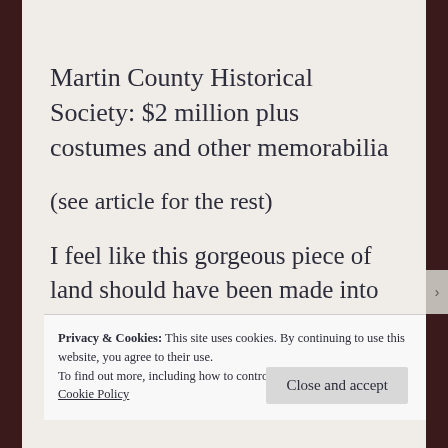Martin County Historical Society: $2 million plus costumes and other memorabilia
(see article for the rest)
I feel like this gorgeous piece of land should have been made into something
Privacy & Cookies: This site uses cookies. By continuing to use this website, you agree to their use.
To find out more, including how to control cookies, see here:
Cookie Policy